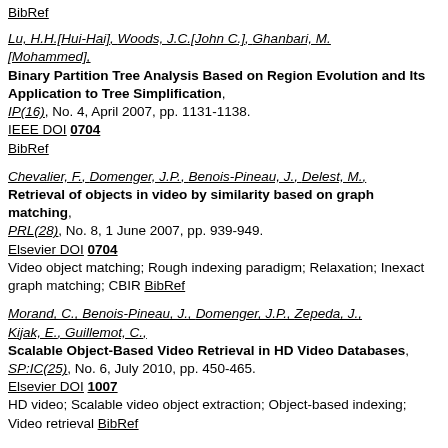BibRef

Lu, H.H.[Hui-Hai], Woods, J.C.[John C.], Ghanbari, M.[Mohammed],
Binary Partition Tree Analysis Based on Region Evolution and Its Application to Tree Simplification,
IP(16), No. 4, April 2007, pp. 1131-1138.
IEEE DOI 0704
BibRef
Chevalier, F., Domenger, J.P., Benois-Pineau, J., Delest, M.,
Retrieval of objects in video by similarity based on graph matching,
PRL(28), No. 8, 1 June 2007, pp. 939-949.
Elsevier DOI 0704
Video object matching; Rough indexing paradigm; Relaxation; Inexact graph matching; CBIR BibRef
Morand, C., Benois-Pineau, J., Domenger, J.P., Zepeda, J., Kijak, E., Guillemot, C.,
Scalable Object-Based Video Retrieval in HD Video Databases,
SP:IC(25), No. 6, July 2010, pp. 450-465.
Elsevier DOI 1007
HD video; Scalable video object extraction; Object-based indexing; Video retrieval BibRef